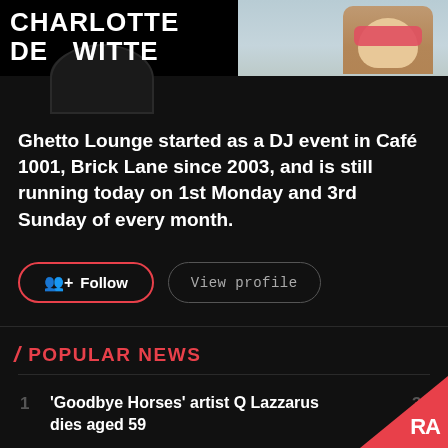[Figure (screenshot): Charlotte De Witte artist banner with photo on dark background and circular avatar]
Ghetto Lounge started as a DJ event in Café 1001, Brick Lane since 2003, and is still running today on 1st Monday and 3rd Sunday of every month.
POPULAR NEWS
'Goodbye Horses' artist Q Lazzarus dies aged 59